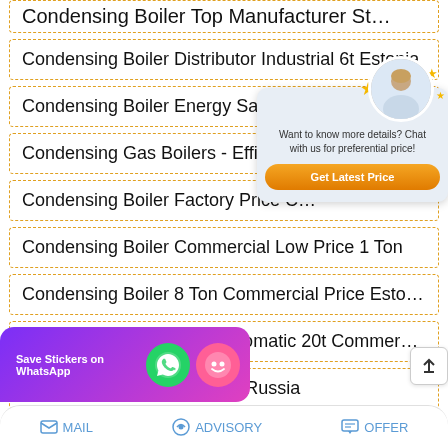Condensing Boiler Top Manufacturer St…
Condensing Boiler Distributor Industrial 6t Estonia
Condensing Boiler Energy Saving T…
Condensing Gas Boilers - Efficient …
Condensing Boiler Factory Price C…
Condensing Boiler Commercial Low Price 1 Ton
Condensing Boiler 8 Ton Commercial Price Estoni…
Condensing Boiler Fully Automatic 20t Commercial
Condensing Boiler 8t Agent Russia
Dealer Energy Saving
[Figure (infographic): Chat popup overlay with customer service avatar, stars, text 'Want to know more details? Chat with us for preferential price!' and orange Get Latest Price button]
[Figure (infographic): WhatsApp Save Stickers banner with purple/pink gradient background, WhatsApp green icon, and pink emoji icon]
MAIL   ADVISORY   OFFER